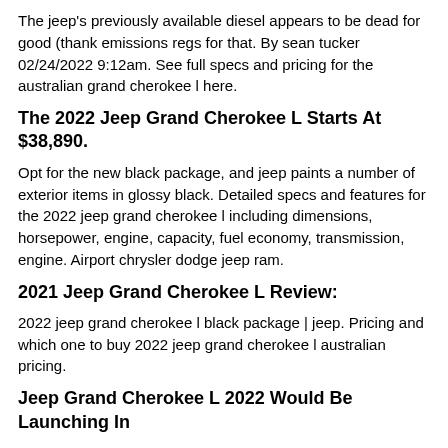The jeep's previously available diesel appears to be dead for good (thank emissions regs for that. By sean tucker 02/24/2022 9:12am. See full specs and pricing for the australian grand cherokee l here.
The 2022 Jeep Grand Cherokee L Starts At $38,890.
Opt for the new black package, and jeep paints a number of exterior items in glossy black. Detailed specs and features for the 2022 jeep grand cherokee l including dimensions, horsepower, engine, capacity, fuel economy, transmission, engine. Airport chrysler dodge jeep ram.
2021 Jeep Grand Cherokee L Review:
2022 jeep grand cherokee l black package | jeep. Pricing and which one to buy 2022 jeep grand cherokee l australian pricing.
Jeep Grand Cherokee L 2022 Would Be Launching In